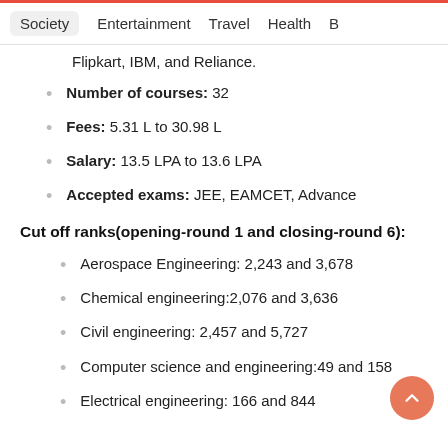Society  Entertainment  Travel  Health  B
Flipkart, IBM, and Reliance.
Number of courses: 32
Fees: 5.31 L to 30.98 L
Salary: 13.5 LPA to 13.6 LPA
Accepted exams: JEE, EAMCET, Advance
Cut off ranks(opening-round 1 and closing-round 6):
Aerospace Engineering: 2,243 and 3,678
Chemical engineering:2,076 and 3,636
Civil engineering: 2,457 and 5,727
Computer science and engineering:49 and 158
Electrical engineering: 166 and 844